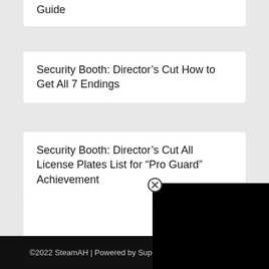Guide
Security Booth: Director’s Cut How to Get All 7 Endings
Security Booth: Director’s Cut All License Plates List for “Pro Guard” Achievement
Kalinur 100% Walkthrough Guide with Map & Achievement
©2022 SteamAH | Powered by SuperbThemes & WordPress